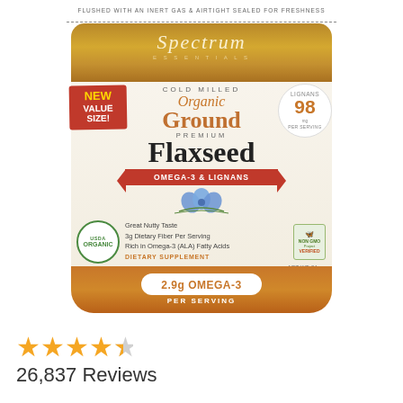[Figure (photo): Product photo of Spectrum Essentials Cold Milled Organic Ground Premium Flaxseed bag. The bag is cream/off-white with gold top and orange bottom. Features red NEW VALUE SIZE badge on left, red ribbon banner reading OMEGA-3 & LIGNANS, USDA Organic seal, Non-GMO Verified badge, Lignans 98mg per serving badge. Text on bag: COLD MILLED, Organic, Ground, PREMIUM, Flaxseed, OMEGA-3 & LIGNANS, Great Nutty Taste, 3g Dietary Fiber Per Serving, Rich in Omega-3 (ALA) Fatty Acids, DIETARY SUPPLEMENT, 2.9g OMEGA-3 PER SERVING, NET WT. 24oz / 680g. Top text: FLUSHED WITH AN INERT GAS & AIRTIGHT SEALED FOR FRESHNESS.]
26,837 Reviews